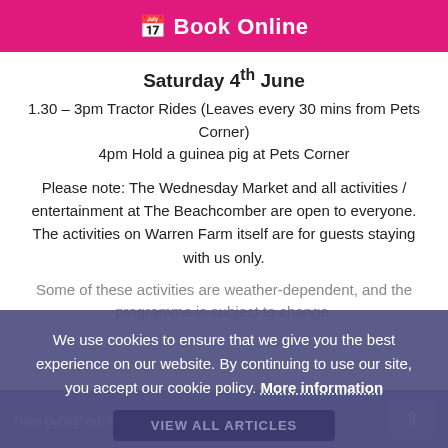Book Online
Saturday 4th June
1.30 – 3pm Tractor Rides (Leaves every 30 mins from Pets Corner)
4pm Hold a guinea pig at Pets Corner
Please note: The Wednesday Market and all activities / entertainment at The Beachcomber are open to everyone. The activities on Warren Farm itself are for guests staying with us only.
Some of these activities are weather-dependent, and the programme is subject to change.
We use cookies to ensure that we give you the best experience on our website. By continuing to use our site, you accept our cookie policy. More information
VIEW ALL ARTICLES
ACCEPT
Date published: Fri 6th May 2022